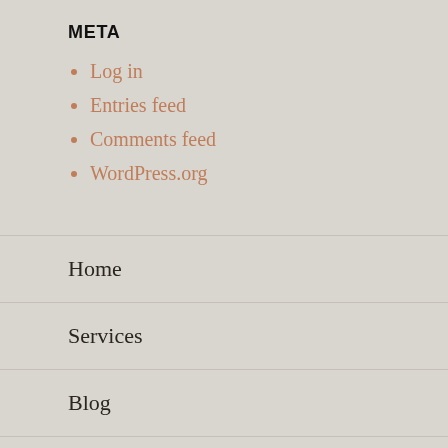META
Log in
Entries feed
Comments feed
WordPress.org
Home
Services
Blog
About me
Get in touch